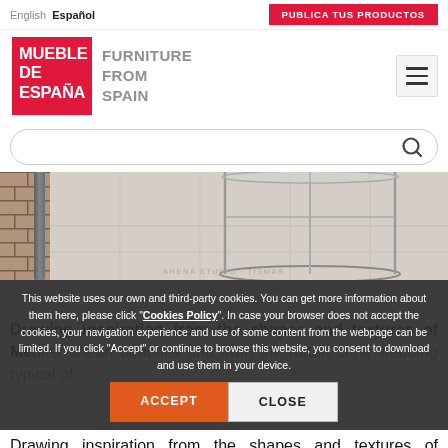English  Español    PUBLICA TUS PRODUCTOS
[Figure (logo): Mueble de España / Furniture From Spain logo with red box and hamburger menu]
[Figure (screenshot): Search bar with magnifying glass icon]
[Figure (photo): Close-up photo of a glass and metal side table (ARENA studio by TISMAR) outdoors on stone tiles with tile wall and metal pole in background]
This website uses our own and third-party cookies. You can get more information about them here, please click "Cookies Policy". In case your browser does not accept the cookies, your navigation experience and use of some content from the webpage can be limited. If you click "Accept" or continue to browse this website, you consent to download and use them in your device.
ACCEPT   CLOSE
Drawing inspiration from the shapes and textures of Mediterranean beaches and from the rattan cane webbing typical of